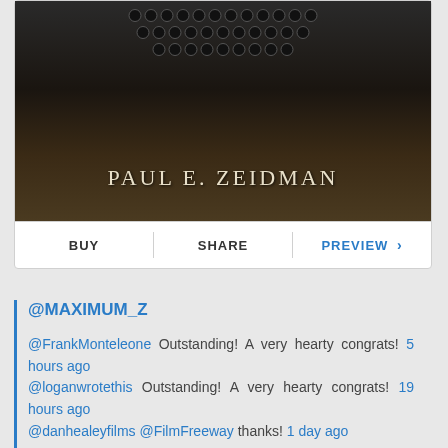[Figure (photo): Book cover or promotional card showing a vintage typewriter on a wooden surface with the text PAUL E. ZEIDMAN overlaid at the bottom, in serif cream/gold lettering]
BUY | SHARE | PREVIEW >
@MAXIMUM_Z
@FrankMonteleone Outstanding! A very hearty congrats! 5 hours ago
@loganwrotethis Outstanding! A very hearty congrats! 19 hours ago
@danhealeyfilms @FilmFreeway thanks! 1 day ago